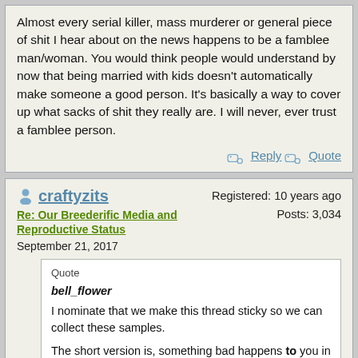Almost every serial killer, mass murderer or general piece of shit I hear about on the news happens to be a famblee man/woman. You would think people would understand by now that being married with kids doesn't automatically make someone a good person. It's basically a way to cover up what sacks of shit they really are. I will never, ever trust a famblee person.
Reply  Quote
craftyzits
Re: Our Breederific Media and Reproductive Status
September 21, 2017
Registered: 10 years ago
Posts: 3,034
Quote
bell_flower
I nominate that we make this thread sticky so we can collect these samples.

The short version is, something bad happens to you in America, or you are missing, and you happen to be a parent or chyyyld, the media will pick up your story. But if you fuck up or do something evil, and you are a parent particularly, parental status is not mentioned.